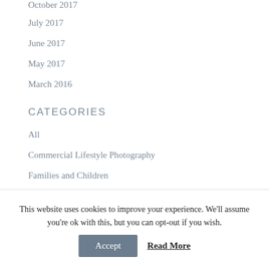October 2017
July 2017
June 2017
May 2017
March 2016
CATEGORIES
All
Commercial Lifestyle Photography
Families and Children
Musicians Photography
Women's Photography
This website uses cookies to improve your experience. We'll assume you're ok with this, but you can opt-out if you wish.
Accept
Read More